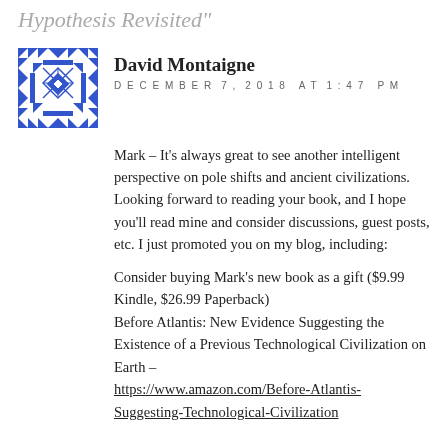Hypothesis Revisited"
David Montaigne
DECEMBER 7, 2018 AT 1:47 PM
Mark – It's always great to see another intelligent perspective on pole shifts and ancient civilizations. Looking forward to reading your book, and I hope you'll read mine and consider discussions, guest posts, etc. I just promoted you on my blog, including:
Consider buying Mark's new book as a gift ($9.99 Kindle, $26.99 Paperback)
Before Atlantis: New Evidence Suggesting the Existence of a Previous Technological Civilization on Earth –
https://www.amazon.com/Before-Atlantis-
Suggesting-Technological-Civilization